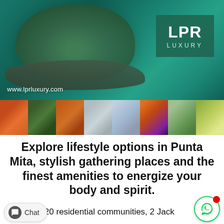[Figure (photo): Aerial view of a rocky island peninsula with green vegetation surrounded by turquoise water, with LPR Luxury logo badge overlay and www.lprluxury.com URL]
[Figure (photo): Horizontal strip of 8 small thumbnail photos showing food, nature, beach, people, sunset, and tropical scenes]
Explore lifestyle options in Punta Mita, stylish gathering places and the finest amenities to energize your body and spirit.
Discover 20 residential communities, 2 Jack Nicklaus Signature golf courses, 4 private beach clubs, a tennis club and fitness center, collection of boutique shops, a private